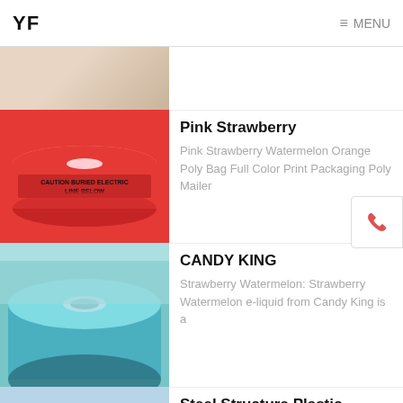YF  MENU
[Figure (photo): Partial top image, cropped product photo]
Pink Strawberry
Pink Strawberry Watermelon Orange Poly Bag Full Color Print Packaging Poly Mailer
[Figure (photo): Red warning tape roll with text CAUTION BURIED ELECTRIC LINE BELOW]
CANDY KING
Strawberry Watermelon: Strawberry Watermelon e-liquid from Candy King is a
[Figure (photo): Blue/teal plastic roll of film]
Steel Structure Plastic
We are manufacturer & provide Steel Structure Plastic
[Figure (photo): Agricultural field with blue plastic mulch film rows]